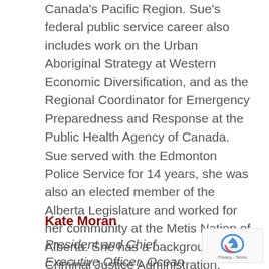Canada's Pacific Region. Sue's federal public service career also includes work on the Urban Aboriginal Strategy at Western Economic Diversification, and as the Regional Coordinator for Emergency Preparedness and Response at the Public Health Agency of Canada. Sue served with the Edmonton Police Service for 14 years, she was also an elected member of the Alberta Legislature and worked for her community at the Metis Nation of Alberta. She has a background in Criminal Justice Administration, Crime Prevention Theory Management and Practice, and Leadership.
Kate Moran
President and Chief Executive Officer, Ocean Networks Canada